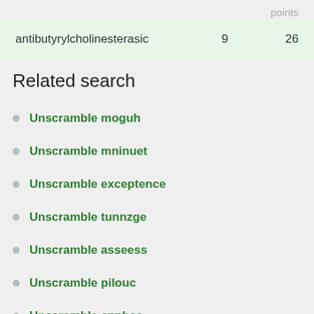points
| word |  | points |
| --- | --- | --- |
| antibutyrylcholinesterasic | 9 | 26 |
Related search
Unscramble moguh
Unscramble mninuet
Unscramble exceptence
Unscramble tunnzge
Unscramble asseess
Unscramble pilouc
Unscramble apphcc
Unscramble perferrs